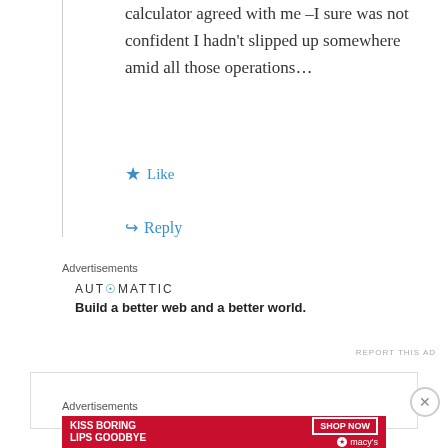calculator agreed with me –I sure was not confident I hadn't slipped up somewhere amid all those operations…
Like
Reply
Advertisements
AUTOMATTIC
Build a better web and a better world.
REPORT THIS AD
Advertisements
[Figure (infographic): Macy's advertisement: KISS BORING LIPS GOODBYE with SHOP NOW button and Macy's star logo on red background]